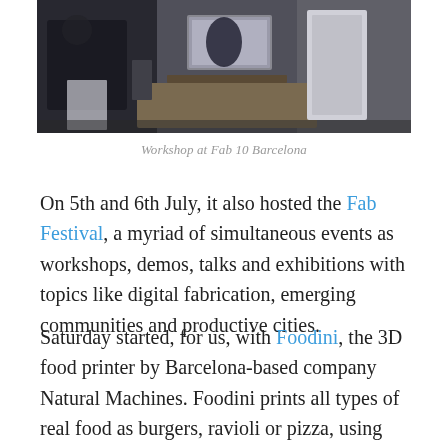[Figure (photo): Workshop scene at Fab 10 Barcelona showing people working at desks with computers and equipment]
Workshop at Fab 10 Barcelona
On 5th and 6th July, it also hosted the Fab Festival, a myriad of simultaneous events as workshops, demos, talks and exhibitions with topics like digital fabrication, emerging communities and productive cities.
Saturday started, for us, with Foodini, the 3D food printer by Barcelona-based company Natural Machines. Foodini prints all types of real food as burgers, ravioli or pizza, using fresh ingredients. During their workshop,